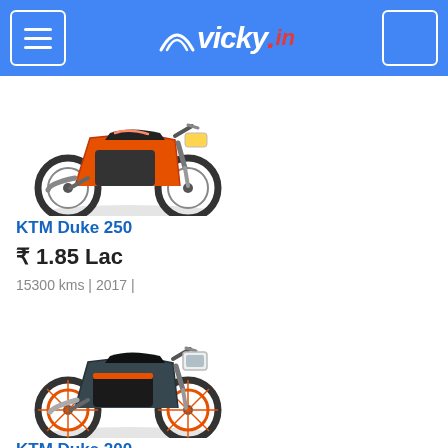vicky.in
[Figure (photo): KTM Duke 250 motorcycle in orange and black, side view on white background]
KTM Duke 250
₹ 1.85 Lac
15300 kms | 2017 |
[Figure (photo): KTM Duke 200 motorcycle in black and orange, side view on white background]
KTM Duke 200
₹ 32,000